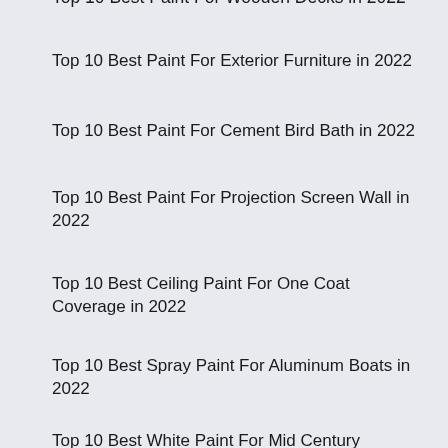Top 10 Best Paint For Wooden Decks in 2022
Top 10 Best Paint For Exterior Furniture in 2022
Top 10 Best Paint For Cement Bird Bath in 2022
Top 10 Best Paint For Projection Screen Wall in 2022
Top 10 Best Ceiling Paint For One Coat Coverage in 2022
Top 10 Best Spray Paint For Aluminum Boats in 2022
Top 10 Best White Paint For Mid Century Modern in 2022